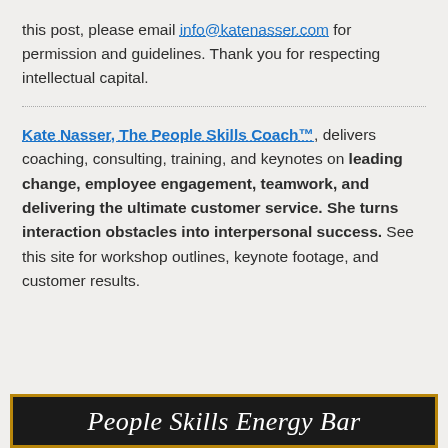this post, please email info@katenasser.com for permission and guidelines. Thank you for respecting intellectual capital.
Kate Nasser, The People Skills Coach™, delivers coaching, consulting, training, and keynotes on leading change, employee engagement, teamwork, and delivering the ultimate customer service. She turns interaction obstacles into interpersonal success. See this site for workshop outlines, keynote footage, and customer results.
[Figure (other): Dark banner with gold border showing partial text 'People Skills Energy Bar' in white italic serif font on black background]